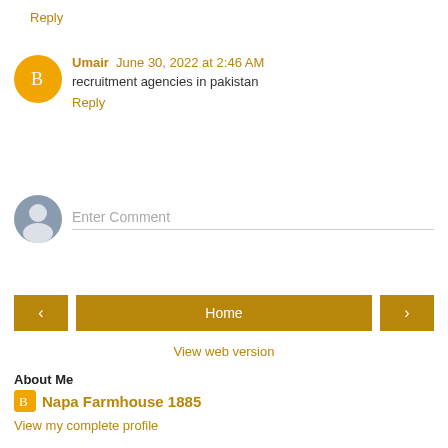Reply
Umair  June 30, 2022 at 2:46 AM
recruitment agencies in pakistan
Reply
Enter Comment
Home
View web version
About Me
Napa Farmhouse 1885
View my complete profile